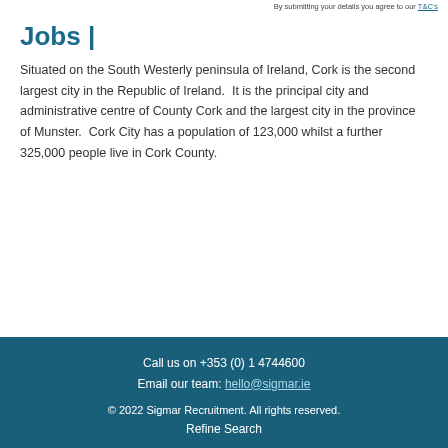By submitting your details you agree to our T&C's
Jobs |
Situated on the South Westerly peninsula of Ireland, Cork is the second largest city in the Republic of Ireland.  It is the principal city and administrative centre of County Cork and the largest city in the province of Munster.  Cork City has a population of 123,000 whilst a further 325,000 people live in Cork County.
Call us on +353 (0) 1 4744600
Email our team: hello@sigmar.ie

© 2022 Sigmar Recruitment. All rights reserved.
Refine Search